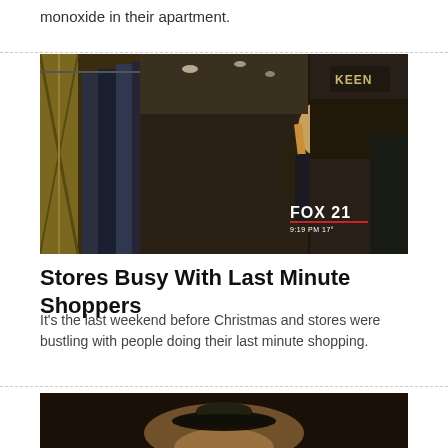monoxide in their apartment.
[Figure (photo): Interior of a clothing/outdoor gear store with jackets hanging on racks on the left and shoppers browsing in the background. FOX 21 bug visible in bottom right showing 9:19 PM 17°.]
Stores Busy With Last Minute Shoppers
It's the last weekend before Christmas and stores were bustling with people doing their last minute shopping.
[Figure (photo): Partial view of a second news story image, dark with warm tones, partially cropped at bottom of page.]